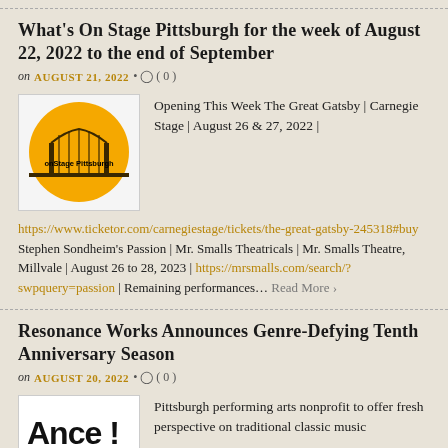What's On Stage Pittsburgh for the week of August 22, 2022 to the end of September
on AUGUST 21, 2022 • ( 0 )
[Figure (logo): onStage Pittsburgh logo — golden circle with bridge silhouette and text 'onStage Pittsburgh']
Opening This Week The Great Gatsby | Carnegie Stage | August 26 & 27, 2022 |
https://www.ticketor.com/carnegiestage/tickets/the-great-gatsby-245318#buy Stephen Sondheim's Passion | Mr. Smalls Theatricals | Mr. Smalls Theatre, Millvale | August 26 to 28, 2023 | https://mrsmalls.com/search/?swpquery=passion | Remaining performances… Read More ›
Resonance Works Announces Genre-Defying Tenth Anniversary Season
on AUGUST 20, 2022 • ( 0 )
[Figure (logo): Resonance Works logo — bold black text on white background]
Pittsburgh performing arts nonprofit to offer fresh perspective on traditional classic music